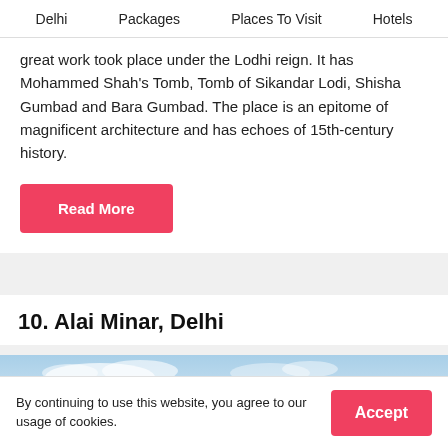Delhi  Packages  Places To Visit  Hotels
great work took place under the Lodhi reign. It has Mohammed Shah's Tomb, Tomb of Sikandar Lodi, Shisha Gumbad and Bara Gumbad. The place is an epitome of magnificent architecture and has echoes of 15th-century history.
Read More
10. Alai Minar, Delhi
[Figure (photo): Photograph of Alai Minar, Delhi — blue sky with clouds, trees visible at the right edge.]
By continuing to use this website, you agree to our usage of cookies.